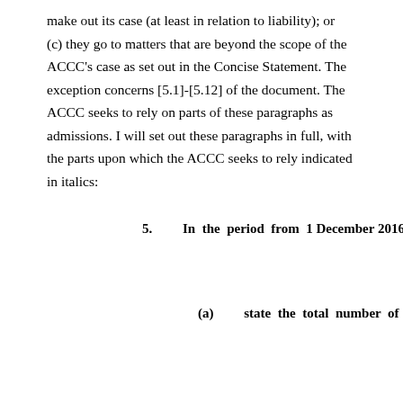make out its case (at least in relation to liability); or (c) they go to matters that are beyond the scope of the ACCC's case as set out in the Concise Statement. The exception concerns [5.1]-[5.12] of the document. The ACCC seeks to rely on parts of these paragraphs as admissions. I will set out these paragraphs in full, with the parts upon which the ACCC seeks to rely indicated in italics:
5.    In the period from 1 December 2016 to the date of this Notice:
(a)    state the total number of times that consumers visited the Australian Website and entered a region or location into Trivago's search bar